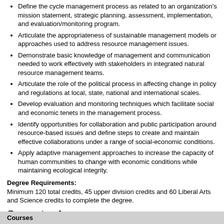Define the cycle management process as related to an organization's mission statement, strategic planning, assessment, implementation, and evaluation/monitoring program.
Articulate the appropriateness of sustainable management models or approaches used to address resource management issues.
Demonstrate basic knowledge of management and communication needed to work effectively with stakeholders in integrated natural resource management teams.
Articulate the role of the political process in affecting change in policy and regulations at local, state, national and international scales.
Develop evaluation and monitoring techniques which facilitate social and economic tenets in the management process.
Identify opportunities for collaboration and public participation around resource-based issues and define steps to create and maintain effective collaborations under a range of social-economic conditions.
Apply adaptive management approaches to increase the capacity of human communities to change with economic conditions while maintaining ecological integrity.
Degree Requirements:
Minimum 120 total credits, 45 upper division credits and 60 Liberal Arts and Science credits to complete the degree.
Semester 1
| Code | Course Name | Credits |
| --- | --- | --- |
| BIO 101 | Biology I | 4 |
| ENG 101 | Effective College Writing I | 3 |
| FYS 101 | First Year Seminar | 3 |
| NRCM_SOCIETY | NRCM: Society and Natural World Foundation Course | 3 |
Courses